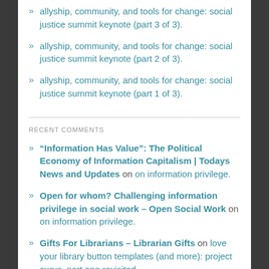allyship, community, and tools for change: social justice summit keynote (part 3 of 3).
allyship, community, and tools for change: social justice summit keynote (part 2 of 3).
allyship, community, and tools for change: social justice summit keynote (part 1 of 3).
RECENT COMMENTS
“Information Has Value”: The Political Economy of Information Capitalism | Todays News and Updates on on information privilege.
Open for whom? Challenging information privilege in social work – Open Social Work on on information privilege.
Gifts For Librarians – Librarian Gifts on love your library button templates (and more): project curve, part one revisited.
For the Greater (Not) Good Enough: Open Access and